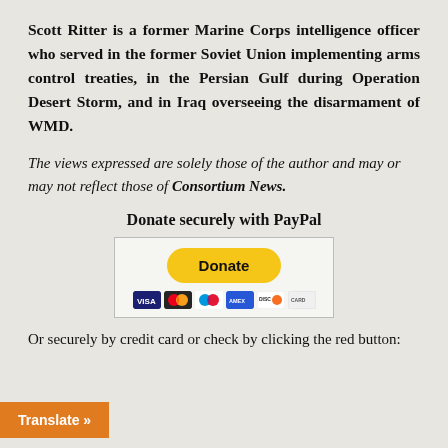Scott Ritter is a former Marine Corps intelligence officer who served in the former Soviet Union implementing arms control treaties, in the Persian Gulf during Operation Desert Storm, and in Iraq overseeing the disarmament of WMD.
The views expressed are solely those of the author and may or may not reflect those of Consortium News.
Donate securely with PayPal
[Figure (other): PayPal Donate button with credit card icons (Visa, Mastercard, American Express, Discover) inside a bordered box]
Or securely by credit card or check by clicking the red button: